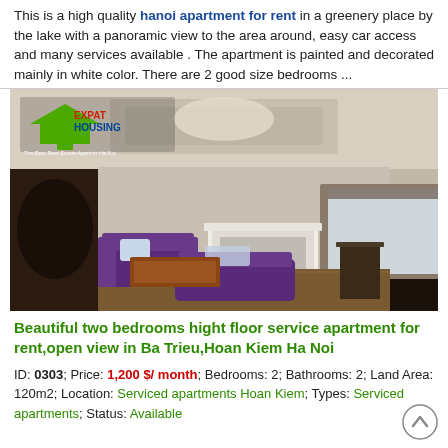This is a high quality hanoi apartment for rent in a greenery place by the lake with a panoramic view to the area around, easy car access and many services available . The apartment is painted and decorated mainly in white color. There are 2 good size bedrooms ...
[Figure (photo): Interior photo of a living room with purple sofas, wooden coffee table, white fireplace, and a window with blinds. A real estate company logo (ExpatHousing) is visible in the upper left corner.]
Beautiful two bedrooms hight floor service apartment for rent,open view in Ba Trieu,Hoan Kiem Ha Noi
ID: 0303; Price: 1,200 $/ month; Bedrooms: 2; Bathrooms: 2; Land Area: 120m2; Location: Serviced apartments Hoan Kiem; Types: Serviced apartments; Status: Available